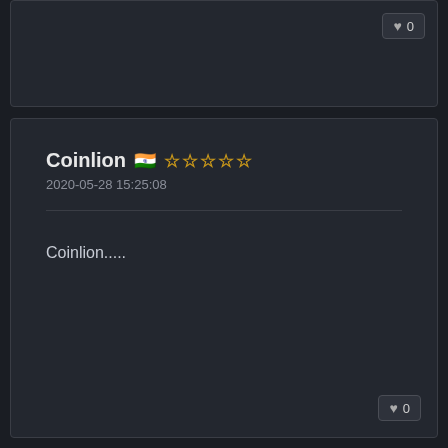[Figure (screenshot): Top partial card with like button showing 0 likes]
Coinlion 🇮🇳 ☆☆☆☆☆
2020-05-28 15:25:08
Coinlion.....
♥ 0